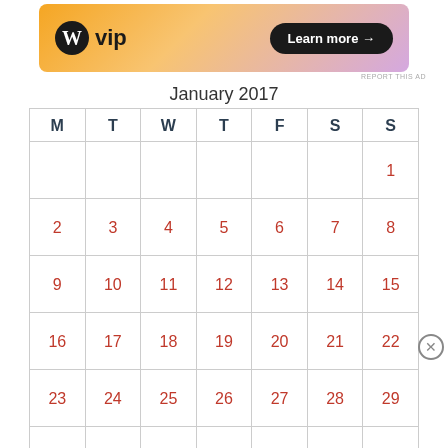[Figure (illustration): WordPress VIP advertisement banner with orange-to-purple gradient background, W circle logo, 'vip' text, and 'Learn more →' button]
January 2017
| M | T | W | T | F | S | S |
| --- | --- | --- | --- | --- | --- | --- |
|  |  |  |  |  |  | 1 |
| 2 | 3 | 4 | 5 | 6 | 7 | 8 |
| 9 | 10 | 11 | 12 | 13 | 14 | 15 |
| 16 | 17 | 18 | 19 | 20 | 21 | 22 |
| 23 | 24 | 25 | 26 | 27 | 28 | 29 |
| 30 | 31 |  |  |  |  |  |
Advertisements
[Figure (illustration): Seamless food delivery advertisement with pizza image, red Seamless logo badge, and 'ORDER NOW' button on dark background]